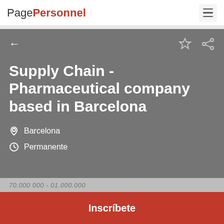PagePersonnel
Supply Chain - Pharmaceutical company based in Barcelona
Barcelona
Permanente
Inscríbete